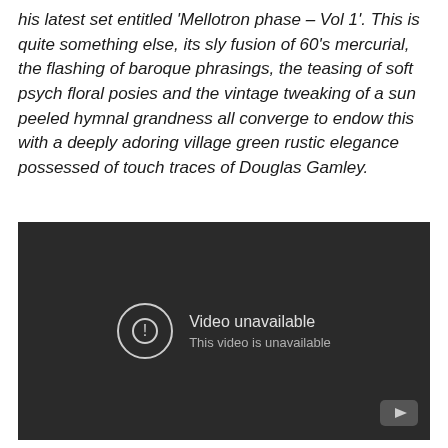his latest set entitled 'Mellotron phase – Vol 1'. This is quite something else, its sly fusion of 60's mercurial, the flashing of baroque phrasings, the teasing of soft psych floral posies and the vintage tweaking of a sun peeled hymnal grandness all converge to endow this with a deeply adoring village green rustic elegance possessed of touch traces of Douglas Gamley.
[Figure (screenshot): Embedded video player showing 'Video unavailable – This video is unavailable' message on a dark background with YouTube logo]